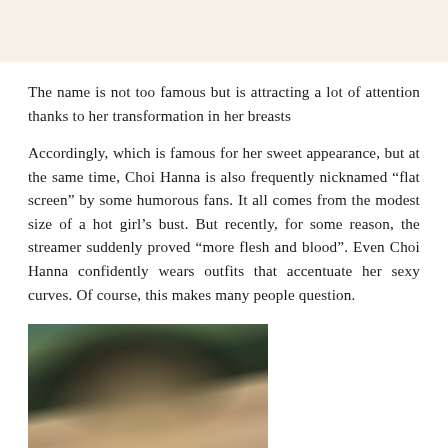The name is not too famous but is attracting a lot of attention thanks to her transformation in her breasts
Accordingly, which is famous for her sweet appearance, but at the same time, Choi Hanna is also frequently nicknamed “flat screen” by some humorous fans. It all comes from the modest size of a hot girl’s bust. But recently, for some reason, the streamer suddenly proved “more flesh and blood”. Even Choi Hanna confidently wears outfits that accentuate her sexy curves. Of course, this makes many people question.
[Figure (photo): Partial photo of a young woman with long dark hair, cropped to show head and upper shoulders area]